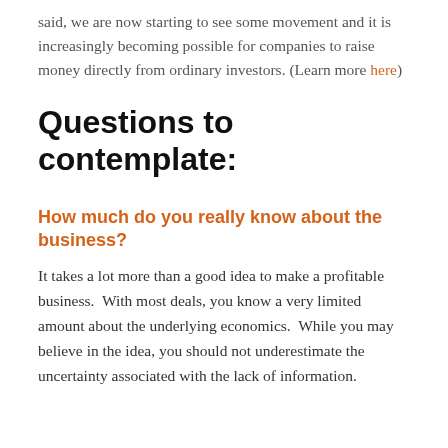said, we are now starting to see some movement and it is increasingly becoming possible for companies to raise money directly from ordinary investors. (Learn more here)
Questions to contemplate:
How much do you really know about the business?
It takes a lot more than a good idea to make a profitable business.  With most deals, you know a very limited amount about the underlying economics.  While you may believe in the idea, you should not underestimate the uncertainty associated with the lack of information.